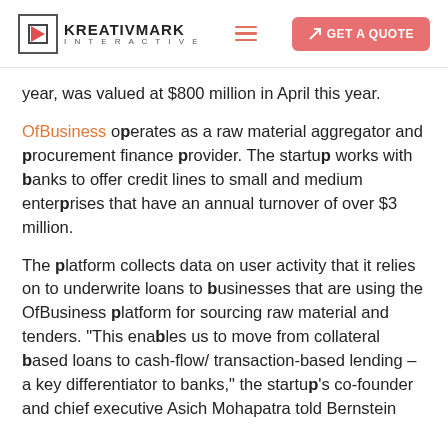KREATIVMARK INTERACTIVE | GET A QUOTE
year, was valued at $800 million in April this year.
OfBusiness operates as a raw material aggregator and procurement finance provider. The startup works with banks to offer credit lines to small and medium enterprises that have an annual turnover of over $3 million.
The platform collects data on user activity that it relies on to underwrite loans to businesses that are using the OfBusiness platform for sourcing raw material and tenders. “This enables us to move from collateral based loans to cash-flow/transaction-based lending – a key differentiator to banks,” the startup’s co-founder and chief executive Asish Mohapatra told Bernstein